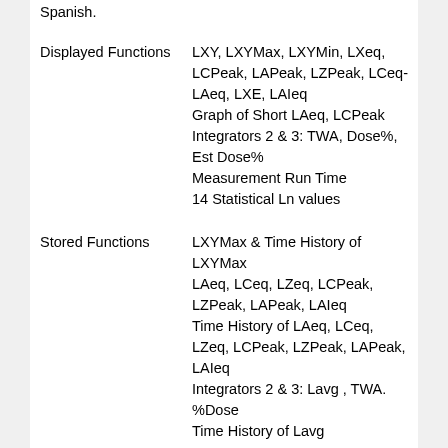Spanish.
Displayed Functions
LXY, LXYMax, LXYMin, LXeq, LCPeak, LAPeak, LZPeak, LCeq-LAeq, LXE, LAIeq
Graph of Short LAeq, LCPeak
Integrators 2 & 3: TWA, Dose%, Est Dose%
Measurement Run Time
14 Statistical Ln values
Stored Functions
LXYMax & Time History of LXYMax
LAeq, LCeq, LZeq, LCPeak, LZPeak, LAPeak, LAIeq
Time History of LAeq, LCeq, LZeq, LCPeak, LZPeak, LAPeak, LAIeq
Integrators 2 & 3: Lavg , TWA. %Dose
Time History of Lavg